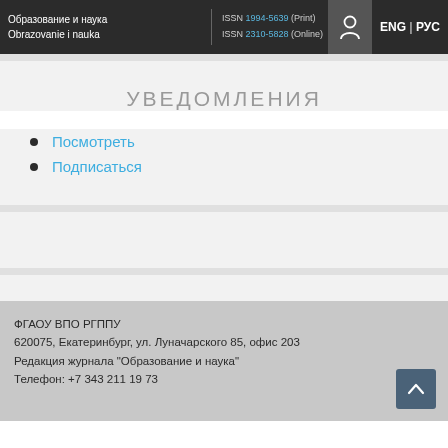Образование и наука / Obrazovanie i nauka | ISSN 1994-5639 (Print) ISSN 2310-5828 (Online) | ENG | РУС
УВЕДОМЛЕНИЯ
Посмотреть
Подписаться
ФГАОУ ВПО РГППУ
620075, Екатеринбург, ул. Луначарского 85, офис 203
Редакция журнала "Образование и наука"
Телефон: +7 343 211 19 73